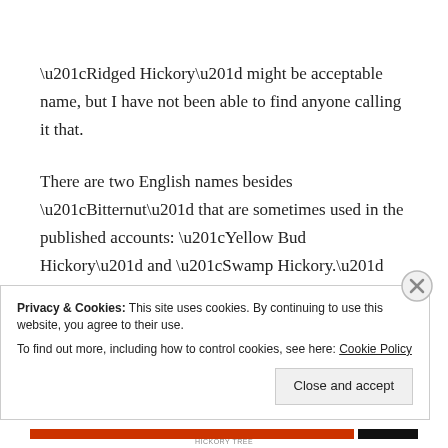“Ridged Hickory” might be acceptable name, but I have not been able to find anyone calling it that.
There are two English names besides “Bitternut” that are sometimes used in the published accounts: “Yellow Bud Hickory” and “Swamp Hickory.” “Swamp” seems to me to more misleading than helpful; the tree is found in many locations that are not swamp.
Privacy & Cookies: This site uses cookies. By continuing to use this website, you agree to their use.
To find out more, including how to control cookies, see here: Cookie Policy
Close and accept